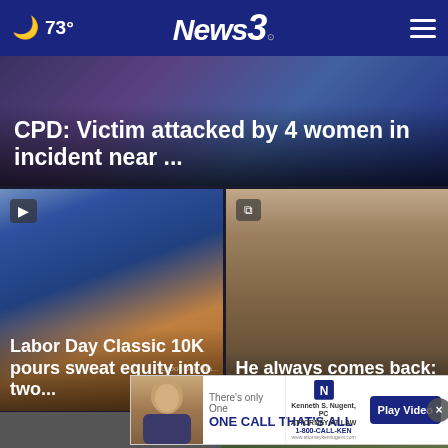73° News 3
CPD: Victim attacked by 4 women in incident near ...
[Figure (screenshot): News card with video play icon showing building/city scene at dusk]
Labor Day Classic 10K pours sweat equity into two...
[Figure (photo): Close-up photo of a young boy's face]
He always comes back: Branch removed from...
[Figure (screenshot): Advertisement banner: There's only One ONE CALL THAT'S ALL, Kenneth S. Nugent, PC, 1-800-CALL-KEN, Play Video]